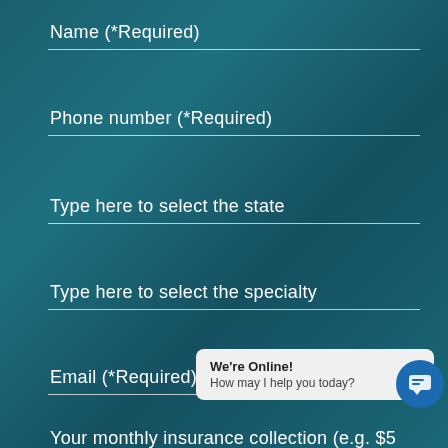Name (*Required)
Phone number (*Required)
Type here to select the state
Type here to select the specialty
Email (*Required)
Your monthly insurance collection (e.g. $5...
We're Online! How may I help you today?